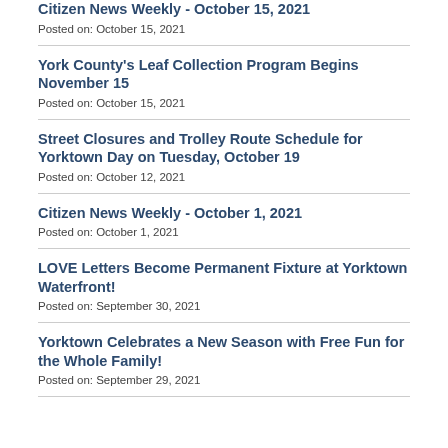Citizen News Weekly - October 15, 2021
Posted on: October 15, 2021
York County's Leaf Collection Program Begins November 15
Posted on: October 15, 2021
Street Closures and Trolley Route Schedule for Yorktown Day on Tuesday, October 19
Posted on: October 12, 2021
Citizen News Weekly - October 1, 2021
Posted on: October 1, 2021
LOVE Letters Become Permanent Fixture at Yorktown Waterfront!
Posted on: September 30, 2021
Yorktown Celebrates a New Season with Free Fun for the Whole Family!
Posted on: September 29, 2021